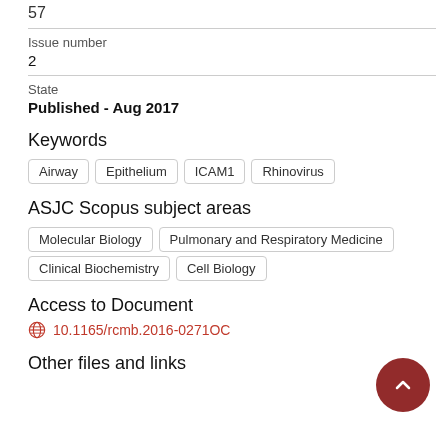57
Issue number
2
State
Published - Aug 2017
Keywords
Airway
Epithelium
ICAM1
Rhinovirus
ASJC Scopus subject areas
Molecular Biology
Pulmonary and Respiratory Medicine
Clinical Biochemistry
Cell Biology
Access to Document
10.1165/rcmb.2016-0271OC
Other files and links